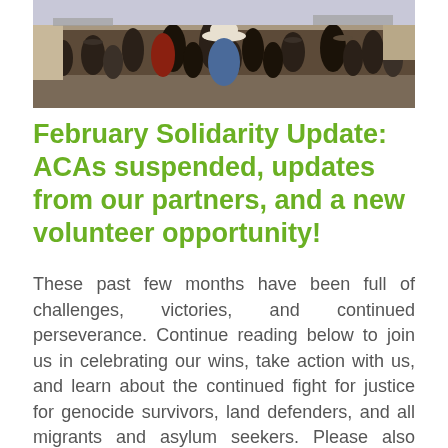[Figure (photo): A crowd of people walking away from the viewer along a street, many wearing hats including a prominent white cowboy hat in the center, in what appears to be a Latin American town setting.]
February Solidarity Update: ACAs suspended, updates from our partners, and a new volunteer opportunity!
These past few months have been full of challenges, victories, and continued perseverance. Continue reading below to join us in celebrating our wins, take action with us, and learn about the continued fight for justice for genocide survivors, land defenders, and all migrants and asylum seekers. Please also consider [...]